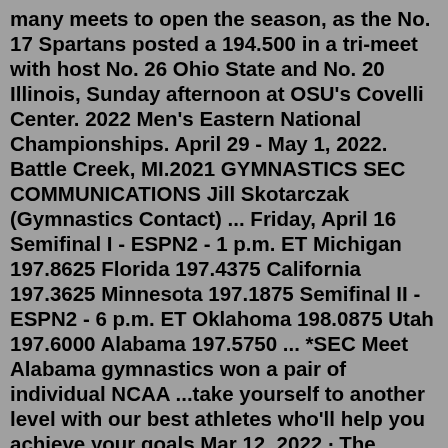many meets to open the season, as the No. 17 Spartans posted a 194.500 in a tri-meet with host No. 26 Ohio State and No. 20 Illinois, Sunday afternoon at OSU's Covelli Center. 2022 Men's Eastern National Championships. April 29 - May 1, 2022. Battle Creek, MI.2021 GYMNASTICS SEC COMMUNICATIONS Jill Skotarczak (Gymnastics Contact) ... Friday, April 16 Semifinal I - ESPN2 - 1 p.m. ET Michigan 197.8625 Florida 197.4375 California 197.3625 Minnesota 197.1875 Semifinal II - ESPN2 - 6 p.m. ET Oklahoma 198.0875 Utah 197.6000 Alabama 197.5750 ... *SEC Meet Alabama gymnastics won a pair of individual NCAA ...take yourself to another level with our best athletes who'll help you achieve your goals Mar 12, 2022 · The Rams, runner-up in each of the past two seasons in which the finals were contested (2019 and 2021), won their fifth state title in program history and first since they captured their third ... 2023 USAG Schedule Posted. Posted on June 7, 2022. The 2022-2023 USAG Schedule is posted. Sectionals,